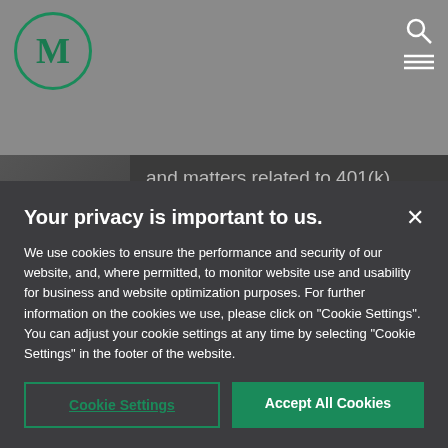[Figure (logo): Circular logo with stylized M letter in dark green on white, green border]
[Figure (photo): Website page showing a lawyer bio with partial text about 401(k), 403(b), pension, executive compensation, health care reform, and cafeteria and welfare plans. Jacob assists clients in drafting employee benefit plan]
Your privacy is important to us.
We use cookies to ensure the performance and security of our website, and, where permitted, to monitor website use and usability for business and website optimization purposes. For further information on the cookies we use, please click on "Cookie Settings". You can adjust your cookie settings at any time by selecting "Cookie Settings" in the footer of the website.
Cookie Settings
Accept All Cookies